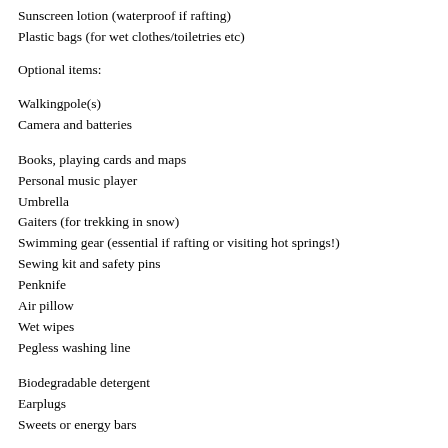Sunscreen lotion (waterproof if rafting)
Plastic bags (for wet clothes/toiletries etc)
Optional items:
Walkingpole(s)
Camera and batteries
Books, playing cards and maps
Personal music player
Umbrella
Gaiters (for trekking in snow)
Swimming gear (essential if rafting or visiting hot springs!)
Sewing kit and safety pins
Penknife
Air pillow
Wet wipes
Pegless washing line
Biodegradable detergent
Earplugs
Sweets or energy bars